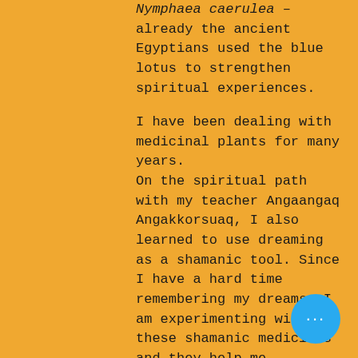Nymphaea caerulea – already the ancient Egyptians used the blue lotus to strengthen spiritual experiences.

I have been dealing with medicinal plants for many years.
On the spiritual path with my teacher Angaangaq Angakkorsuaq, I also learned to use dreaming as a shamanic tool. Since I have a hard time remembering my dreams, I am experimenting with these shamanic medicines and they help me.
I would like to share my experiences with others, and some of the herbs I sell on my markets or on request.
[Figure (other): A circular blue button with three white dots (ellipsis/more options button) in the bottom right corner]